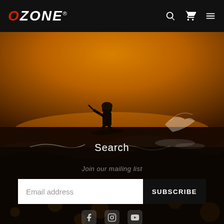OZONE
[Figure (photo): Kitesurfer silhouetted against a golden/amber sunset sky over ocean waves, photographed from water level. The surfer is airborne/riding a wave with spray, bokeh foreground water drops visible.]
Search
Join our mailing list
Email address
SUBSCRIBE